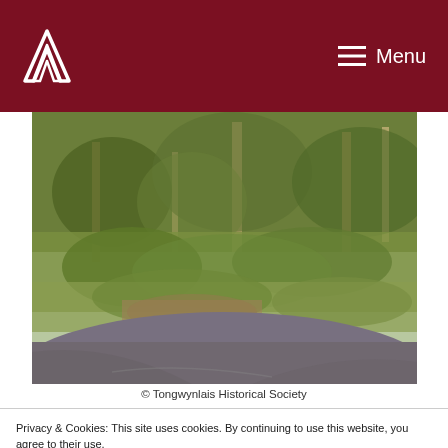Menu
[Figure (photo): Overgrown vegetation, trees, brambles and greenery at a road junction or corner, viewed from road level. A curved road/path is visible in the foreground.]
© Tongwynlais Historical Society
Privacy & Cookies: This site uses cookies. By continuing to use this website, you agree to their use.
To find out more, including how to control cookies, see here: Cookie Policy
Close and accept
willing and hardworking volunteers have been busily bringing it back to life. A large mass of